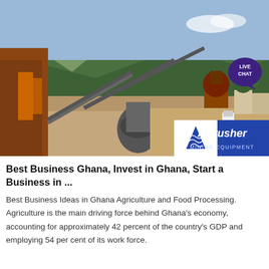[Figure (photo): Mining/quarry site with heavy equipment, conveyor belts, and machinery against a mountain backdrop. Overlaid with ACrusher Mining Equipment logo (blue background with triangular logo and text 'ACrusher MINING EQUIPMENT').]
Best Business Ghana, Invest in Ghana, Start a Business in ...
Best Business Ideas in Ghana Agriculture and Food Processing. Agriculture is the main driving force behind Ghana's economy, accounting for approximately 42 percent of the country's GDP and employing 54 per cent of its work force.